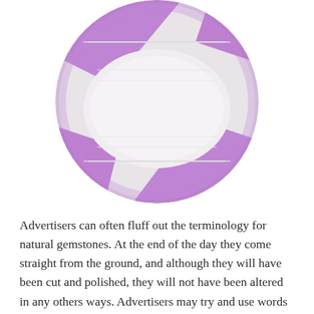[Figure (photo): A circular cropped photo of a small purple/violet faceted gemstone (amethyst) sitting in a white jewelry display box with purple fabric lining. The gemstone is small and sparkles, centered in the box.]
Advertisers can often fluff out the terminology for natural gemstones. At the end of the day they come straight from the ground, and although they will have been cut and polished, they will not have been altered in any others ways. Advertisers may try and use words such as natural, genuine, synthetic, simulated, treated amongst others to try and make out that their gemstones are superior to the rest, alongside them trying to justify the high price they are charging. Not to say everyone who